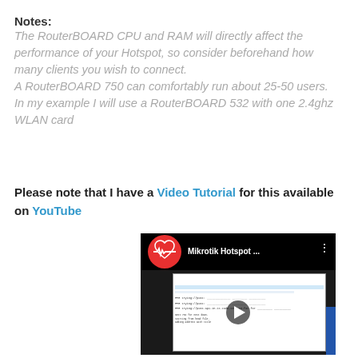Notes:
The RouterBOARD CPU and RAM will directly affect the performance of your Hotspot, so consider beforehand how many clients you wish to connect.
A RouterBOARD 750 can comfortably run about 25-50 users.
In my example I will use a RouterBOARD 532 with one 2.4ghz WLAN card
Please note that I have a Video Tutorial for this available on YouTube
[Figure (screenshot): YouTube video thumbnail showing a Mikrotik Hotspot tutorial video with a play button overlay, red heart logo icon, and terminal/command line screen content]